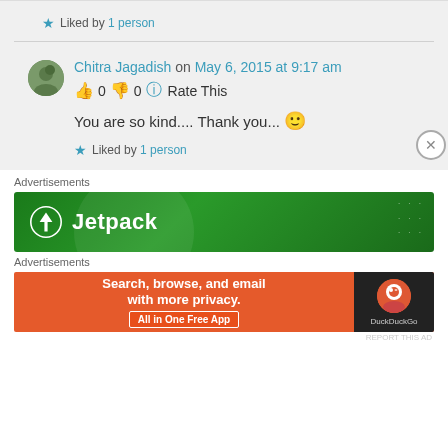★ Liked by 1 person
Chitra Jagadish on May 6, 2015 at 9:17 am
👍 0 👎 0 ℹ Rate This
You are so kind.... Thank you... 🙂
★ Liked by 1 person
Advertisements
[Figure (illustration): Jetpack advertisement banner with green background and Jetpack logo]
Advertisements
[Figure (illustration): DuckDuckGo advertisement: Search, browse, and email with more privacy. All in One Free App]